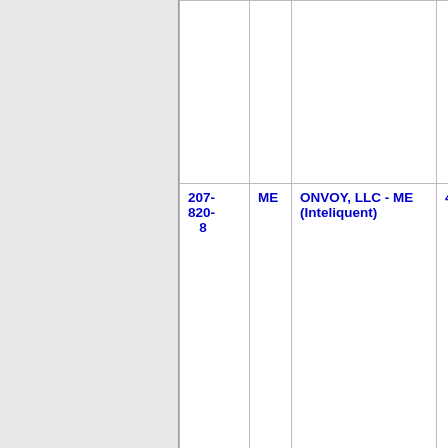| Number | State | Company Name | Code |
| --- | --- | --- | --- |
|  |  |  |  |
| 207-820-8 | ME | ONVOY, LLC - ME (Inteliquent) | 454F |
| 207-820-9 | ME | PEERLESS NETWORK OF MAINE, LLC | 925H |